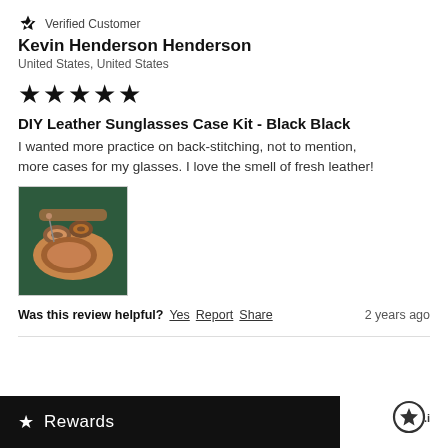Verified Customer
Kevin Henderson Henderson
United States, United States
★★★★★
DIY Leather Sunglasses Case Kit - Black Black
I wanted more practice on back-stitching, not to mention, more cases for my glasses. I love the smell of fresh leather!
[Figure (photo): Photo of a DIY leather sunglasses case craft project on a green cutting mat, showing leather pieces and thread spools.]
Was this review helpful?  Yes  Report  Share  2 years ago
★ Rewards
[Figure (logo): Stamped.io logo - a star inside a circle followed by .io]